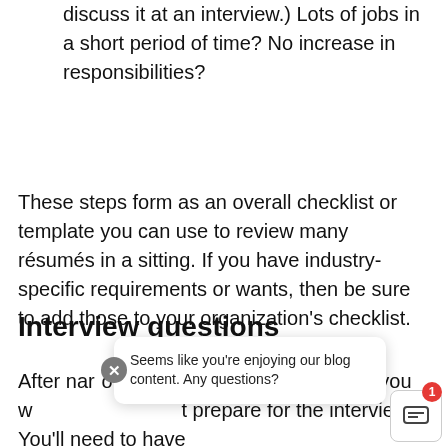discuss it at an interview.) Lots of jobs in a short period of time? No increase in responsibilities?
These steps form as an overall checklist or template you can use to review many résumés in a sitting. If you have industry-specific requirements or wants, then be sure to add those to your organization's checklist.
Interview questions
After narrowing your list of candidates to those you want to interview, it's time to prepare for the interviews. You'll need to have